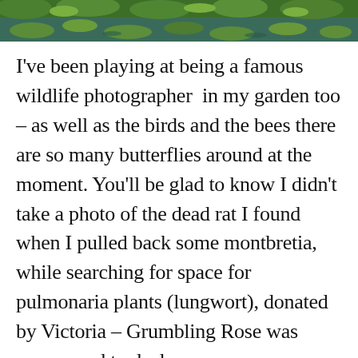[Figure (photo): Top portion of a nature photo showing water lily pads and aquatic plants in a pond or water garden, with green foliage visible.]
I've been playing at being a famous wildlife photographer  in my garden too – as well as the birds and the bees there are so many butterflies around at the moment. You'll be glad to know I didn't take a photo of the dead rat I found when I pulled back some montbretia, while searching for space for pulmonaria plants (lungwort), donated by Victoria – Grumbling Rose was summoned to deal